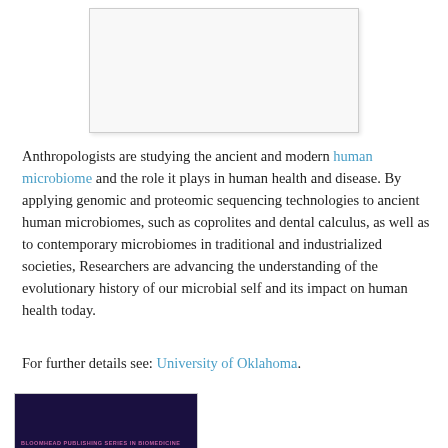[Figure (other): White rectangular image placeholder with light gray border, partially shown at top of page]
Anthropologists are studying the ancient and modern human microbiome and the role it plays in human health and disease. By applying genomic and proteomic sequencing technologies to ancient human microbiomes, such as coprolites and dental calculus, as well as to contemporary microbiomes in traditional and industrialized societies, Researchers are advancing the understanding of the evolutionary history of our microbial self and its impact on human health today.
For further details see: University of Oklahoma.
[Figure (photo): Book cover showing Bloomhead Publishing Series in Biomedicine with dark purple/navy background and magenta text]